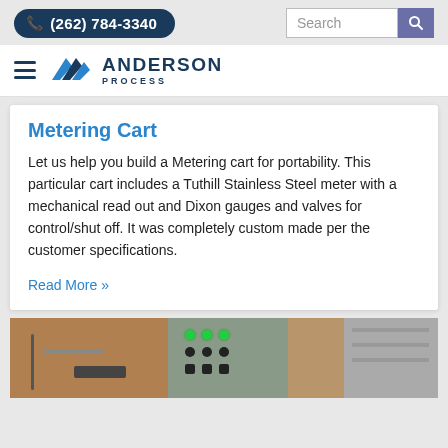(262) 784-3340
[Figure (logo): Anderson Process company logo with hamburger menu icon]
Metering Cart
Let us help you build a Metering cart for portability. This particular cart includes a Tuthill Stainless Steel meter with a mechanical read out and Dixon gauges and valves for control/shut off. It was completely custom made per the customer specifications.
Read More »
[Figure (photo): Photo of industrial control panel with green indicator lights and black knobs/switches on a gray panel, with wooden cabinetry visible on the left side and shelving on the right]